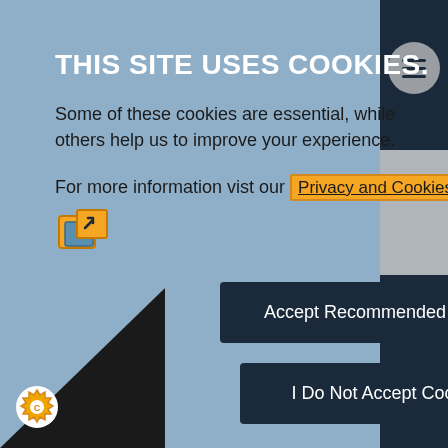THIS SITE USES COOKIES.
Some of these cookies are essential, while others help us to improve your experience.
For more information vist our Privacy and Cookies Policy
[Figure (other): External link icon in orange/yellow]
Accept Recommended Settings
I Do Not Accept Cookies
Necessary Cookies
u cookies enable core functionality. These can